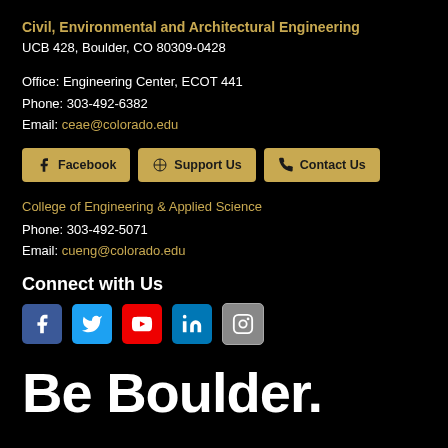Civil, Environmental and Architectural Engineering
UCB 428, Boulder, CO 80309-0428
Office: Engineering Center, ECOT 441
Phone: 303-492-6382
Email: ceae@colorado.edu
[Figure (other): Row of three gold buttons: Facebook, Support Us, Contact Us]
College of Engineering & Applied Science
Phone: 303-492-5071
Email: cueng@colorado.edu
Connect with Us
[Figure (other): Row of five social media icons: Facebook (blue), Twitter (light blue), YouTube (red), LinkedIn (blue), Instagram (grey)]
Be Boulder.